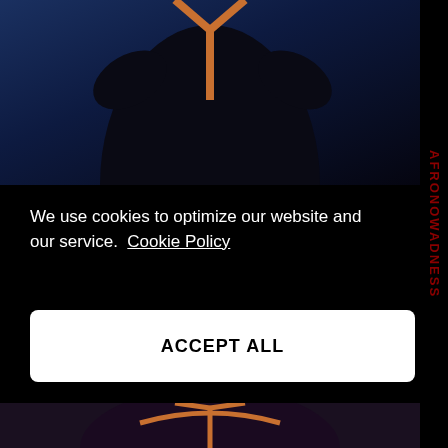[Figure (photo): Fashion photo of a person in black clothing with orange/copper Y-shaped accessory against a blue-toned background]
We use cookies to optimize our website and our service.  Cookie Policy
ACCEPT ALL
Discard
[Figure (photo): Partial fashion photo visible at the bottom of the page]
AFRONOWADNESS